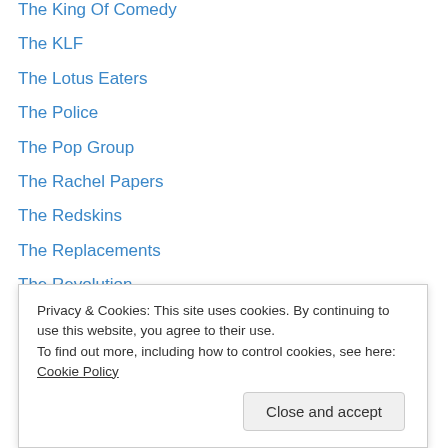The King Of Comedy
The KLF
The Lotus Eaters
The Police
The Pop Group
The Rachel Papers
The Redskins
The Replacements
The Revolution
The Robert Cray Band
The Snowman
The Sundays
The Teardrop Explodes
The Tube
Privacy & Cookies: This site uses cookies. By continuing to use this website, you agree to their use. To find out more, including how to control cookies, see here: Cookie Policy
Hit Machine